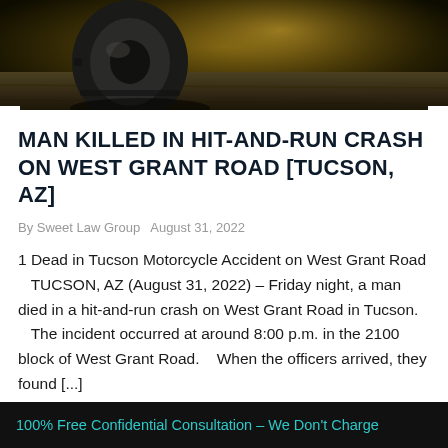[Figure (photo): Close-up photograph of a vehicle tire/wheel on a road surface, with dark moody lighting and warm yellow-brown tones. Road surface visible in foreground.]
MAN KILLED IN HIT-AND-RUN CRASH ON WEST GRANT ROAD [TUCSON, AZ]
By Sweet Law Group  August 31, 2022
1 Dead in Tucson Motorcycle Accident on West Grant Road   TUCSON, AZ (August 31, 2022) – Friday night, a man died in a hit-and-run crash on West Grant Road in Tucson.   The incident occurred at around 8:00 p.m. in the 2100 block of West Grant Road.   When the officers arrived, they found [...]
100% Free Confidential Consultation – We Don't Charge